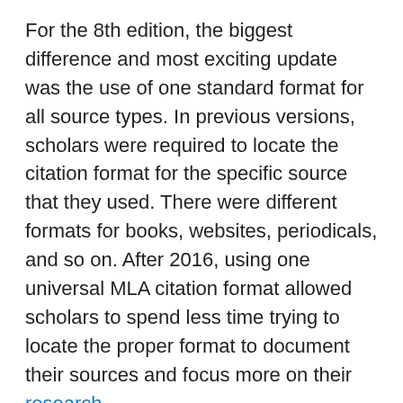For the 8th edition, the biggest difference and most exciting update was the use of one standard format for all source types. In previous versions, scholars were required to locate the citation format for the specific source that they used. There were different formats for books, websites, periodicals, and so on. After 2016, using one universal MLA citation format allowed scholars to spend less time trying to locate the proper format to document their sources and focus more on their research.
Other updates included the addition of “containers.” A container provides details on a work contained within a larger work. For example, books contain chapters, albums contain songs, and journals contain journal articles. The source is the larger work, such as a website, while the container is a smaller work within that source, such as a short story on the website.
MLA now encourages you to add DOIs or URLs to